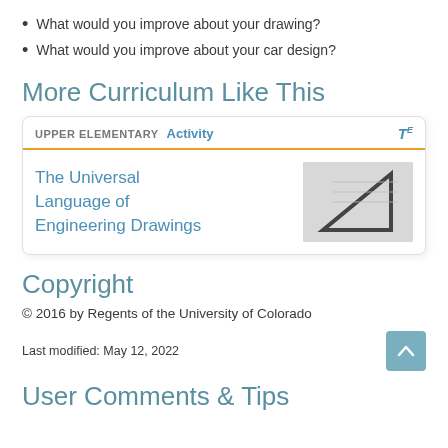What would you improve about your drawing?
What would you improve about your car design?
More Curriculum Like This
[Figure (infographic): Card showing UPPER ELEMENTARY Activity label with TE badge, title 'The Universal Language of Engineering Drawings', and thumbnail image of a drafting triangle]
Copyright
© 2016 by Regents of the University of Colorado
Last modified: May 12, 2022
User Comments & Tips